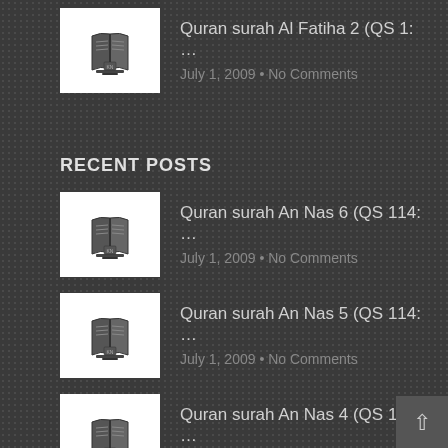Quran surah Al Fatiha 2 (QS 1: … — July 1, 2009 • No Comments
RECENT POSTS
Quran surah An Nas 6 (QS 114: … — July 1, 2009 • No Comments
Quran surah An Nas 5 (QS 114: … — July 1, 2009 • No Comments
Quran surah An Nas 4 (QS 114: … — July 1, 2009 • No Comments
Quran surah An Nas 3 (QS 114: … — July 1, 2009 • No Comments